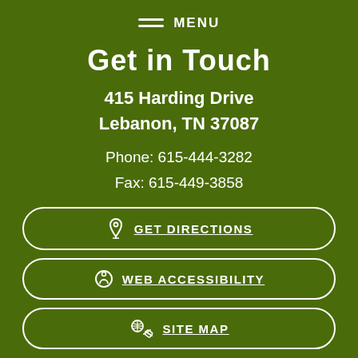MENU
Get in Touch
415 Harding Drive
Lebanon, TN 37087
Phone: 615-444-3282
Fax: 615-449-3858
GET DIRECTIONS
WEB ACCESSIBILITY
SITE MAP